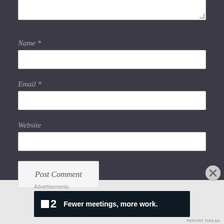[Figure (screenshot): Top portion of a comment form text area (partially visible at top)]
Name *
[Figure (screenshot): Name input field (empty text box)]
Email *
[Figure (screenshot): Email input field (empty text box)]
Website
[Figure (screenshot): Website input field (empty text box)]
[Figure (screenshot): Post Comment button]
Advertisements
[Figure (infographic): P2 advertisement banner: Fewer meetings, more work.]